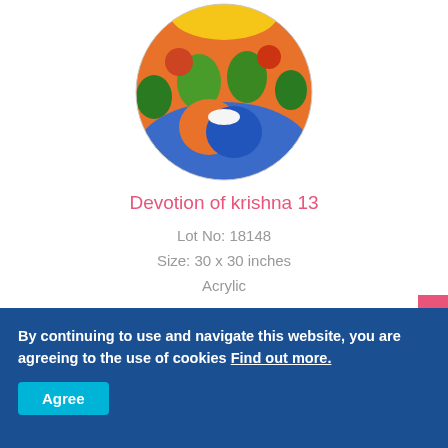[Figure (illustration): Circular painting of devotion of Krishna 13 - colorful Indian art showing Krishna figures with green faces, flute, orange and blue background with trees]
Devotion of krishna 13
Lot No: 18148
Size: 30 x 30 inches
Acrylic
Price ₹1 23,200/ $ 1,760
By continuing to use and navigate this website, you are agreeing to the use of cookies Find out more.
Agree